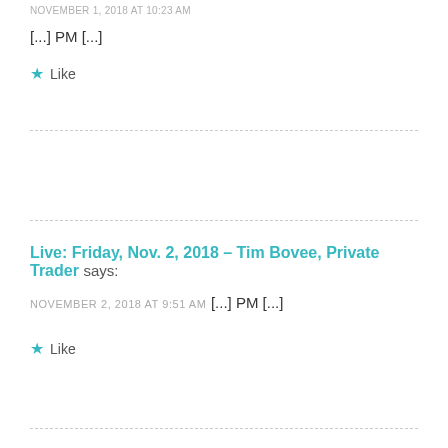NOVEMBER 1, 2018 AT 10:23 AM
[...] PM [...]
★ Like
Live: Friday, Nov. 2, 2018 – Tim Bovee, Private Trader says:
NOVEMBER 2, 2018 AT 9:51 AM
[...] PM [...]
★ Like